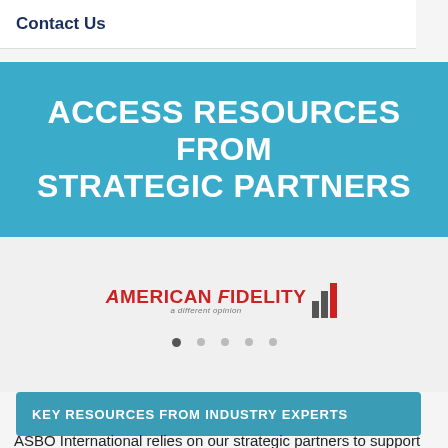Contact Us
ACCESS RESOURCES FROM STRATEGIC PARTNERS
[Figure (logo): American Fidelity logo with red text 'AMERICAN FIDELITY' and tagline 'a different opinion' with a bar graph icon]
KEY RESOURCES FROM INDUSTRY EXPERTS
ASBO International relies on our strategic partners to support our mission to lead the profession of school